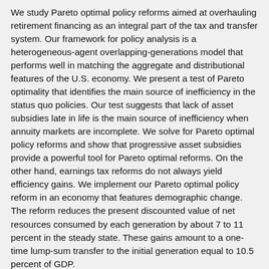We study Pareto optimal policy reforms aimed at overhauling retirement financing as an integral part of the tax and transfer system. Our framework for policy analysis is a heterogeneous-agent overlapping-generations model that performs well in matching the aggregate and distributional features of the U.S. economy. We present a test of Pareto optimality that identifies the main source of inefficiency in the status quo policies. Our test suggests that lack of asset subsidies late in life is the main source of inefficiency when annuity markets are incomplete. We solve for Pareto optimal policy reforms and show that progressive asset subsidies provide a powerful tool for Pareto optimal reforms. On the other hand, earnings tax reforms do not always yield efficiency gains. We implement our Pareto optimal policy reform in an economy that features demographic change. The reform reduces the present discounted value of net resources consumed by each generation by about 7 to 11 percent in the steady state. These gains amount to a one-time lump-sum transfer to the initial generation equal to 10.5 percent of GDP.